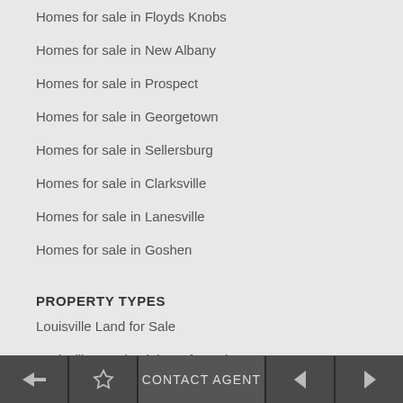Homes for sale in Floyds Knobs
Homes for sale in New Albany
Homes for sale in Prospect
Homes for sale in Georgetown
Homes for sale in Sellersburg
Homes for sale in Clarksville
Homes for sale in Lanesville
Homes for sale in Goshen
PROPERTY TYPES
Louisville Land for Sale
Louisville Condominiums for Sale
Louisville Townhouse for Sale
Back | Favorite | CONTACT AGENT | Previous | Next